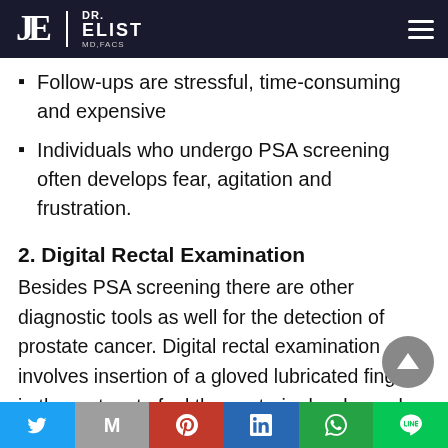DR. ELIST MD,FACS
Follow-ups are stressful, time-consuming and expensive
Individuals who undergo PSA screening often develops fear, agitation and frustration.
2. Digital Rectal Examination
Besides PSA screening there are other diagnostic tools as well for the detection of prostate cancer. Digital rectal examination involves insertion of a gloved lubricated finger in the rectum to feel the posterior border and edges of prostate gland.
Social share bar: Twitter, Mail, Pinterest, LinkedIn, WhatsApp, Line